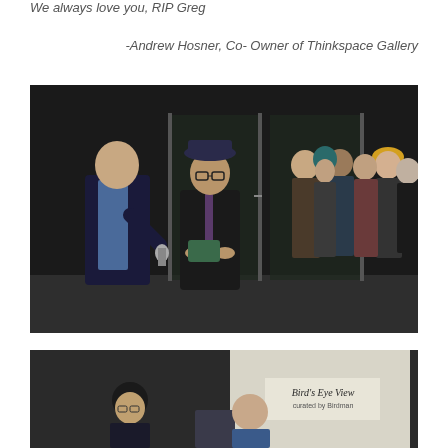We always love you, RIP Greg
-Andrew Hosner, Co- Owner of Thinkspace Gallery
[Figure (photo): Indoor gallery event photo showing two men, one holding a microphone and the other in a hat and suit holding a small object/award, with a crowd of people visible in the background near glass doors.]
[Figure (photo): Indoor event photo showing people near a sign reading 'Bird's Eye View curated by Birdman', with two individuals visible in the foreground.]